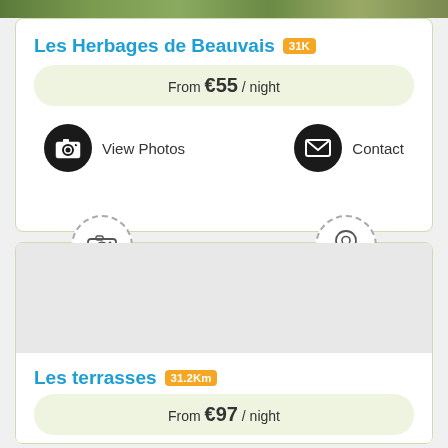[Figure (photo): Green foliage/nature top strip image]
Les Herbages de Beauvais 31K
From €55 / night
View Photos
Contact
[Figure (photo): Second listing card with camera and location pin dashed circle icons, empty image area]
Les terrasses 31.2Km
From €97 / night